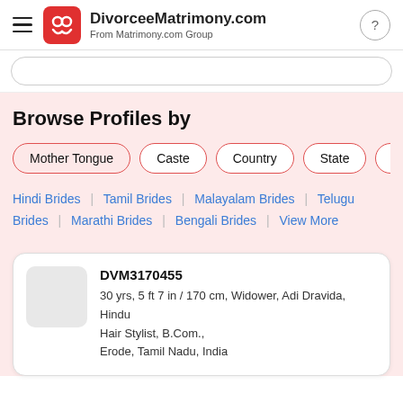DivorceeMatrimony.com — From Matrimony.com Group
Browse Profiles by
Mother Tongue
Caste
Country
State
Hindi Brides | Tamil Brides | Malayalam Brides | Telugu
Brides | Marathi Brides | Bengali Brides | View More
DVM3170455
30 yrs, 5 ft 7 in / 170 cm, Widower, Adi Dravida, Hindu
Hair Stylist, B.Com.,
Erode, Tamil Nadu, India